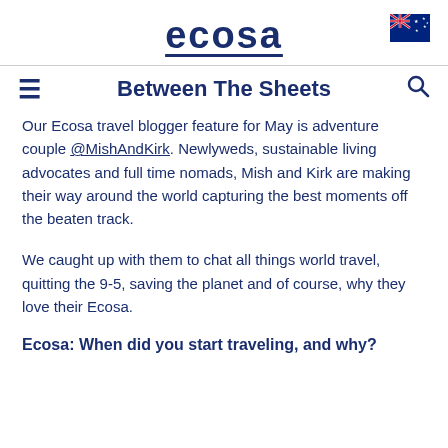ecosa
Between The Sheets
Our Ecosa travel blogger feature for May is adventure couple @MishAndKirk. Newlyweds, sustainable living advocates and full time nomads, Mish and Kirk are making their way around the world capturing the best moments off the beaten track.
We caught up with them to chat all things world travel, quitting the 9-5, saving the planet and of course, why they love their Ecosa.
Ecosa: When did you start traveling, and why?